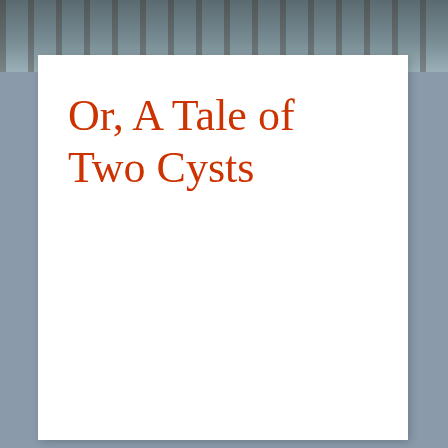[Figure (photo): Outdoor waterfront/dock scene photograph shown as a strip at the top of the page, partially obscured by a white page overlay]
Or, A Tale of Two Cysts